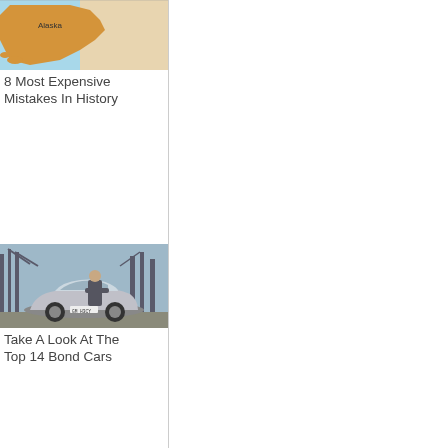[Figure (map): Map showing Alaska highlighted in orange/yellow, with surrounding regions in light blue and beige. 'Alaska' text label visible.]
8 Most Expensive Mistakes In History
[Figure (photo): A man in a suit leaning on a silver BMW Z8 convertible sports car, with industrial oil derricks/cranes in the background.]
Take A Look At The Top 14 Bond Cars